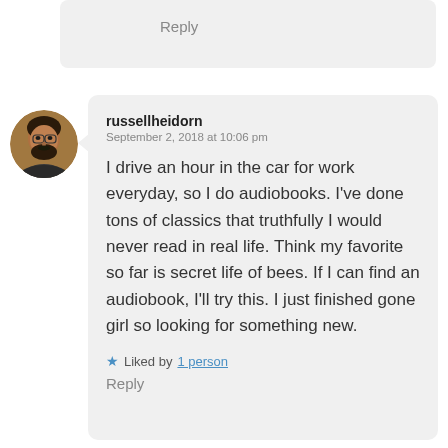Reply
[Figure (photo): Circular avatar photo of a man with dark hair and beard, wearing glasses, with warm background lighting.]
russellheidorn
September 2, 2018 at 10:06 pm
I drive an hour in the car for work everyday, so I do audiobooks. I've done tons of classics that truthfully I would never read in real life. Think my favorite so far is secret life of bees. If I can find an audiobook, I'll try this. I just finished gone girl so looking for something new.
★ Liked by 1 person
Reply